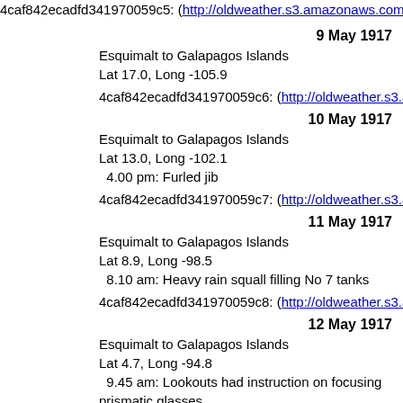4caf842ecadfd341970059c5: (http://oldweather.s3.amazonaws.com/A
9 May 1917
Esquimalt to Galapagos Islands
Lat 17.0, Long -105.9
4caf842ecadfd341970059c6: (http://oldweather.s3.amazonaws.com/A
10 May 1917
Esquimalt to Galapagos Islands
Lat 13.0, Long -102.1
  4.00 pm: Furled jib
4caf842ecadfd341970059c7: (http://oldweather.s3.amazonaws.com/A
11 May 1917
Esquimalt to Galapagos Islands
Lat 8.9, Long -98.5
  8.10 am: Heavy rain squall filling No 7 tanks
4caf842ecadfd341970059c8: (http://oldweather.s3.amazonaws.com/A
12 May 1917
Esquimalt to Galapagos Islands
Lat 4.7, Long -94.8
  9.45 am: Lookouts had instruction on focusing prismatic glasses
4caf842ecadfd341970059c9: (http://oldweather.s3.amazonaws.com/A
13 May 1917
Esquimalt to Galapagos Islands